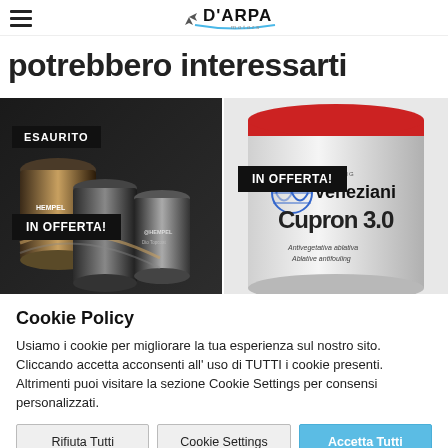D'ARPA motors navigation header
potrebbero interessarti
[Figure (photo): Product photo of Hempel paint cans with ESAURITO badge and IN OFFERTA! badge on dark background]
[Figure (photo): Product photo of Veneziani Yachting Cupron 3.0 antivegetativa ablativa antifouling paint can with IN OFFERTA! badge]
Cookie Policy
Usiamo i cookie per migliorare la tua esperienza sul nostro sito. Cliccando accetta acconsenti all' uso di TUTTI i cookie presenti. Altrimenti puoi visitare la sezione Cookie Settings per consensi personalizzati.
Rifiuta Tutti
Cookie Settings
Accetta Tutti